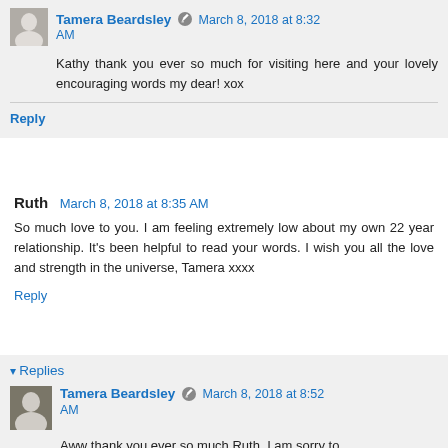Tamera Beardsley [edit icon] March 8, 2018 at 8:32 AM
Kathy thank you ever so much for visiting here and your lovely encouraging words my dear! xox
Reply
Ruth  March 8, 2018 at 8:35 AM
So much love to you. I am feeling extremely low about my own 22 year relationship. It's been helpful to read your words. I wish you all the love and strength in the universe, Tamera xxxx
Reply
Replies
Tamera Beardsley [edit icon] March 8, 2018 at 8:52 AM
Aww thank you ever so much Ruth. I am sorry to